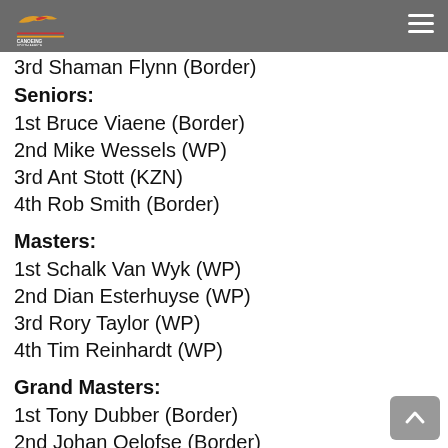Canoeing South Africa
3rd Shaman Flynn (Border)
Seniors:
1st Bruce Viaene (Border)
2nd Mike Wessels (WP)
3rd Ant Stott (KZN)
4th Rob Smith (Border)
Masters:
1st Schalk Van Wyk (WP)
2nd Dian Esterhuyse (WP)
3rd Rory Taylor (WP)
4th Tim Reinhardt (WP)
Grand Masters:
1st Tony Dubber (Border)
2nd Johan Oelofse (Border)
3rd Craig Smith (KZN)
4th Eric Perrier (KZN/France)